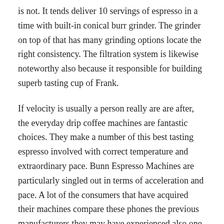is not. It tends deliver 10 servings of espresso in a time with built-in conical burr grinder. The grinder on top of that has many grinding options locate the right consistency. The filtration system is likewise noteworthy also because it responsible for building superb tasting cup of Frank.
If velocity is usually a person really are are after, the everyday drip coffee machines are fantastic choices. They make a number of this best tasting espresso involved with correct temperature and extraordinary pace. Bunn Espresso Machines are particularly singled out in terms of acceleration and pace. A lot of the consumers that have acquired their machines compare these phones the previous manufacturers they may have experienced also one usually comes first when it’s going to come to action.